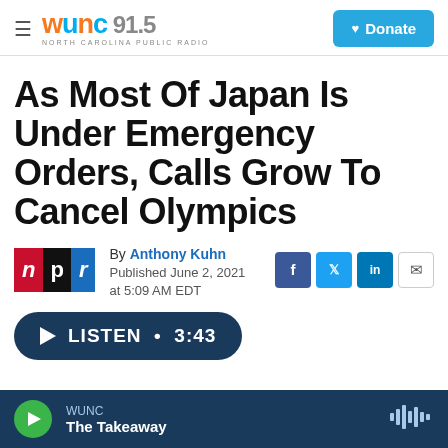WUNC 91.5 NORTH CAROLINA PUBLIC RADIO | Donate
As Most Of Japan Is Under Emergency Orders, Calls Grow To Cancel Olympics
By Anthony Kuhn
Published June 2, 2021 at 5:09 AM EDT
LISTEN • 3:43
WUNC | The Takeaway